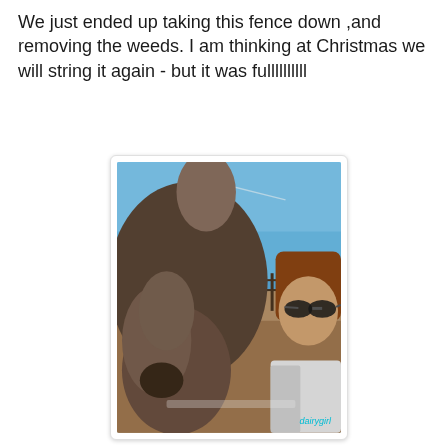We just ended up taking this fence down ,and removing the weeds. I am thinking at Christmas we will string it again - but it was fullllllllll
[Figure (photo): Close-up selfie of a woman with sunglasses and brown hair in a white shirt, next to a large horse (close-up of horse's head/nose), with blue sky and fence in background. Watermark reads 'dairygirlll' in teal.]